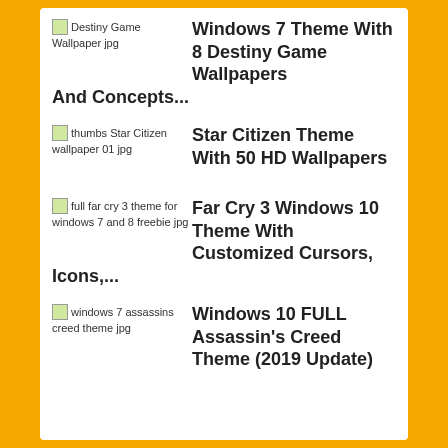Destiny Game Wallpaper jpg — Windows 7 Theme With 8 Destiny Game Wallpapers And Concepts...
thumbs Star Citizen wallpaper 01 jpg — Star Citizen Theme With 50 HD Wallpapers
full far cry 3 theme for windows 7 and 8 freebie jpg — Far Cry 3 Windows 10 Theme With Customized Cursors, Icons,...
windows 7 assassins creed theme jpg — Windows 10 FULL Assassin's Creed Theme (2019 Update)